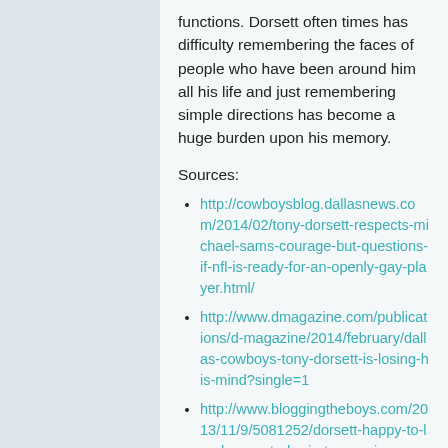functions. Dorsett often times has difficulty remembering the faces of people who have been around him all his life and just remembering simple directions has become a huge burden upon his memory.
Sources:
http://cowboysblog.dallasnews.com/2014/02/tony-dorsett-respects-michael-sams-courage-but-questions-if-nfl-is-ready-for-an-openly-gay-player.html/
http://www.dmagazine.com/publications/d-magazine/2014/february/dallas-cowboys-tony-dorsett-is-losing-his-mind?single=1
http://www.bloggingtheboys.com/2013/11/9/5081252/dorsett-happy-to-lend-name-to-brain-trauma-issue
http://www.everything-dallascowboys.com/cowboys-history/players-and-coaches/running-backs/tony-dorsett
http://www.dmagazine.com/publications/d-magazine/2014/february/dallas-